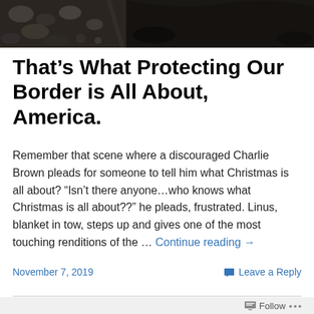[Figure (photo): Dark photograph showing rocky/gravelly ground, stones and soil visible, dark tones]
That’s What Protecting Our Border is All About, America.
Remember that scene where a discouraged Charlie Brown pleads for someone to tell him what Christmas is all about? “Isn’t there anyone…who knows what Christmas is all about??” he pleads, frustrated. Linus, blanket in tow, steps up and gives one of the most touching renditions of the … Continue reading →
November 7, 2019
Leave a Reply
Follow •••